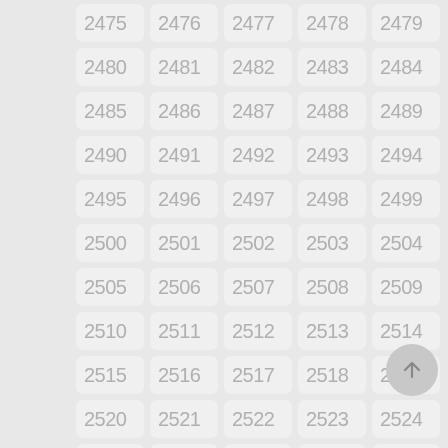[Figure (other): Grid of numbered cells from 2475 to 2529 arranged in 5 columns and 11 rows, with a floating action button (up arrow) in the bottom right corner. Each cell has a rounded rectangle background with a light gray number.]